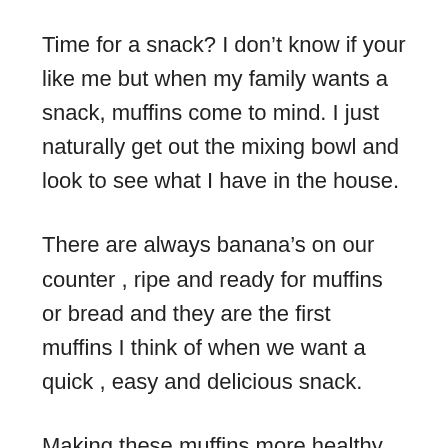Time for a snack? I don’t know if your like me but when my family wants a snack, muffins come to mind. I just naturally get out the mixing bowl and look to see what I have in the house.
There are always banana’s on our counter , ripe and ready for muffins or bread and they are the first muffins I think of when we want a quick , easy and delicious snack.
Making these muffins more healthy